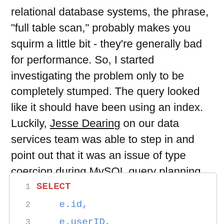relational database systems, the phrase, "full table scan," probably makes you squirm a little bit - they're generally bad for performance. So, I started investigating the problem only to be completely stumped. The query looked like it should have been using an index. Luckily, Jesse Dearing on our data services team was able to step in and point out that it was an issue of type coercion during MySQL query planning.

The slow query that I witnessed doing full table scans looked like this:
1   SELECT
2       e.id,
3       e.userID,